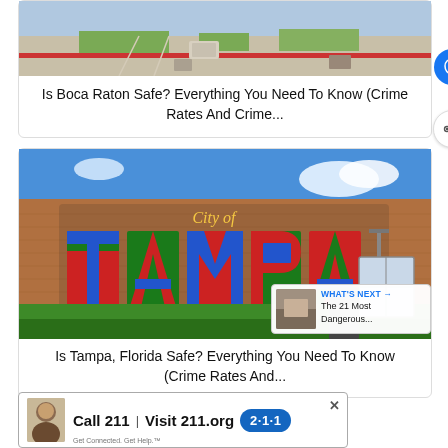[Figure (photo): Aerial/street view photo of Boca Raton plaza area with walkways and grass]
Is Boca Raton Safe? Everything You Need To Know (Crime Rates And Crime...
[Figure (photo): Photo of City of Tampa mural painted on brick building wall with colorful large letters spelling TAMPA]
Is Tampa, Florida Safe? Everything You Need To Know (Crime Rates And...
[Figure (other): WHAT'S NEXT arrow overlay with thumbnail - The 21 Most Dangerous...]
[Figure (infographic): Advertisement banner: Call 211 | Visit 211.org with 2-1-1 logo badge and person photo. Close X button.]